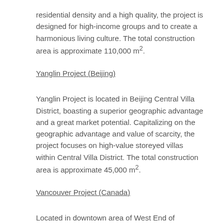residential density and a high quality, the project is designed for high-income groups and to create a harmonious living culture. The total construction area is approximate 110,000 m².
Yanglin Project (Beijing)
Yanglin Project is located in Beijing Central Villa District, boasting a superior geographic advantage and a great market potential. Capitalizing on the geographic advantage and value of scarcity, the project focuses on high-value storeyed villas within Central Villa District. The total construction area is approximate 45,000 m².
Vancouver Project (Canada)
Located in downtown area of West End of Vancouver, the third largest city of Canada, the project is situated at one of the most expensive areas in Vancouver, and also boasts great potential thanks to the convenience of transportation. The project is believed to be a high-end offer with its two 30-storey luxury apartment buildings with 5-storey